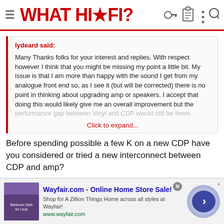WHAT HI-FI?
lydeard said:
Many Thanks folks for your interest and replies. With respect however I think that you might be missing my point a little bit. My issue is that I am more than happy with the sound I get from my analogue front end so, as I see it (but will be corrected) there is no point in thinking about upgrading amp or speakers. I accept that doing this would likely give me an overall improvement but the performance gap between Vinyl and CDP would still be there.
Click to expand...
Before spending possible a few K on a new CDP have you considered or tried a new interconnect between CDP and amp?
[Figure (infographic): Wayfair.com advertisement banner: Online Home Store Sale! Shop for A Zillion Things Home across all styles at Wayfair! www.wayfair.com]